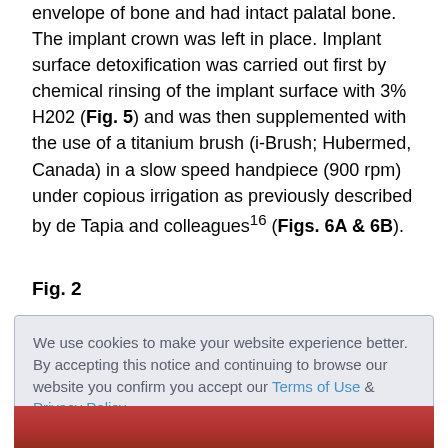envelope of bone and had intact palatal bone. The implant crown was left in place. Implant surface detoxification was carried out first by chemical rinsing of the implant surface with 3% H202 (Fig. 5) and was then supplemented with the use of a titanium brush (i-Brush; Hubermed, Canada) in a slow speed handpiece (900 rpm) under copious irrigation as previously described by de Tapia and colleagues 16 (Figs. 6A & 6B).
Fig. 2
[Figure (screenshot): Cookie consent overlay box with text: 'We use cookies to make your website experience better. By accepting this notice and continuing to browse our website you confirm you accept our Terms of Use & Privacy Policy.' with 'read more >>' link and 'I Accept' button.]
[Figure (photo): Partial view of a clinical photo showing reddish-pink tissue (gum/oral tissue), cropped at the bottom of the page.]